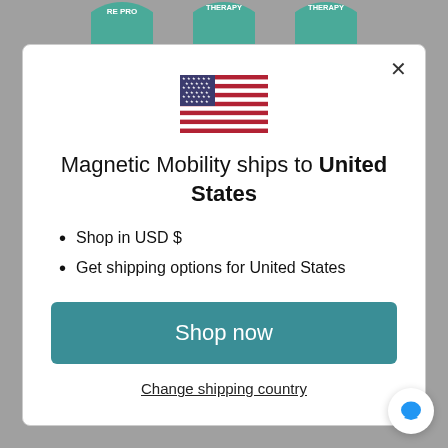[Figure (illustration): Three circular teal badge logos partially visible at the top of the page, labeled RE PRO, THERAPY, and THERAPY]
[Figure (illustration): US flag emoji/icon centered in the modal dialog]
Magnetic Mobility ships to United States
Shop in USD $
Get shipping options for United States
Shop now
Change shipping country